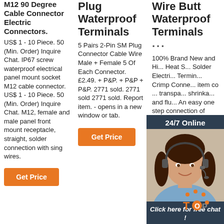M12 90 Degree Cable Connector Electric Connectors.
US$ 1 - 10 Piece. 50 (Min. Order) Inquire Chat. IP67 screw waterproof electrical panel mount socket M12 cable connector. US$ 1 - 10 Piece. 50 (Min. Order) Inquire Chat. M12, female and male panel front mount receptacle, straight, solder connection with sing wires.
Get Price
Plug Waterproof Terminals
5 Pairs 2-Pin SM Plug Connector Cable Wire Male + Female 5 Of Each Connector. £2.49. + P&P. + P&P + P&P. 2771 sold. 2771 sold 2771 sold. Report item. - opens in a new window or tab.
Get Price
Wire Butt Waterproof Terminals
...
100% Brand New and Hi... Heat S... Solder Electri... Termin... Crimp Conne... item co... transpa... shrinka... and flu... An easy one step connection of wires, soldered, sealed, insula... and with hot melt adhesive waterproof
[Figure (illustration): Chat widget with agent photo, '24/7 Online' header, 'Click here for free chat!' CTA and QUOTATION button]
[Figure (logo): TOP badge with orange and dot design in bottom right corner]